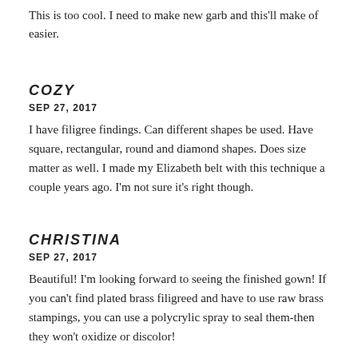This is too cool. I need to make new garb and this'll make of easier.
COZY
SEP 27, 2017
I have filigree findings. Can different shapes be used. Have square, rectangular, round and diamond shapes. Does size matter as well. I made my Elizabeth belt with this technique a couple years ago. I'm not sure it's right though.
CHRISTINA
SEP 27, 2017
Beautiful! I'm looking forward to seeing the finished gown! If you can't find plated brass filigreed and have to use raw brass stampings, you can use a polycrylic spray to seal them-then they won't oxidize or discolor!